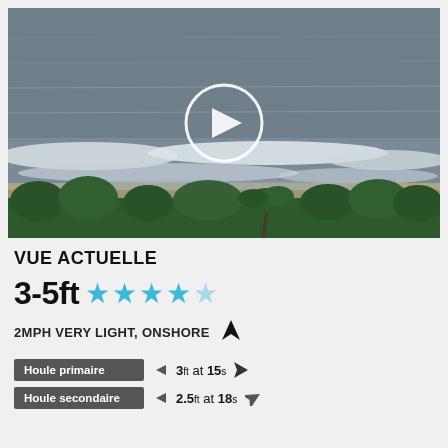[Figure (photo): Aerial/elevated view of a tropical beach with ocean waves breaking on shore, green palm trees and vegetation in foreground, grey overcast sea in background, with a play button overlay indicating a webcam or video feed]
VUE ACTUELLE
3-5ft ★★★★☆ (4 full stars, 1 half star)
2MPH VERY LIGHT, ONSHORE ↑
Houle primaire  3ft at 15s ◄
Houle secondaire  2.5ft at 18s ◄